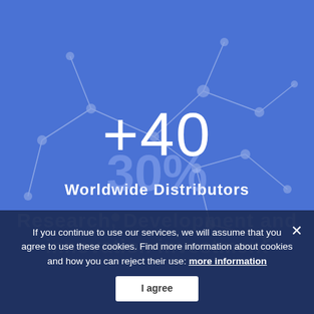[Figure (infographic): Blue background with network graph of connected nodes and lines, decorative]
+40
Worldwide Distributors
If you continue to use our services, we will assume that you agree to use these cookies. Find more information about cookies and how you can reject their use: more information
I agree